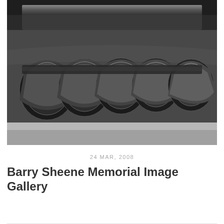[Figure (photo): Close-up photograph of motorcycle exhaust pipes or engine components, showing metallic chrome/steel curved pipes with a dark, industrial look]
24 MAR, 2008
Barry Sheene Memorial Image Gallery